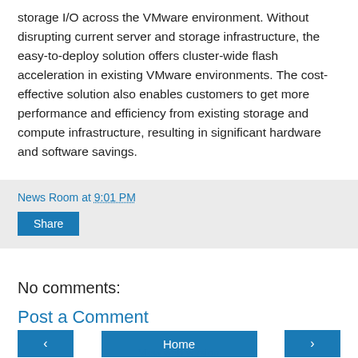storage I/O across the VMware environment. Without disrupting current server and storage infrastructure, the easy-to-deploy solution offers cluster-wide flash acceleration in existing VMware environments. The cost-effective solution also enables customers to get more performance and efficiency from existing storage and compute infrastructure, resulting in significant hardware and software savings.
News Room at 9:01 PM
Share
No comments:
Post a Comment
‹
Home
›
View web version